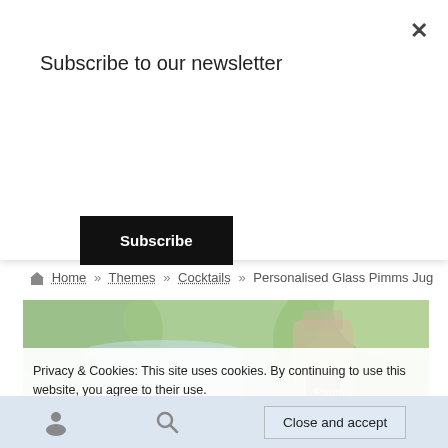Subscribe to our newsletter
Subscribe
🏠 Home » Themes » Cocktails » Personalised Glass Pimms Jug
[Figure (photo): Photo of a glass Pimms jug filled with fruit punch drink, with a glass bottle in the background, set outdoors with green foliage]
Privacy & Cookies: This site uses cookies. By continuing to use this website, you agree to their use.
To find out more, including how to control cookies, see here: Cookie Policy
Close and accept